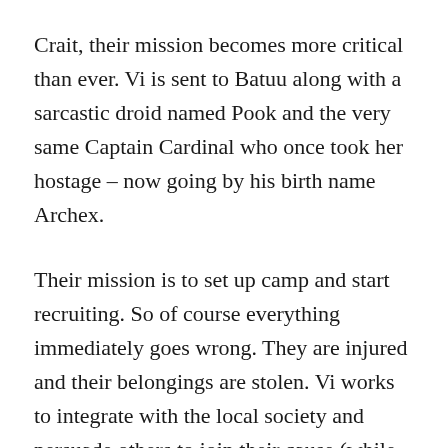Crait, their mission becomes more critical than ever. Vi is sent to Batuu along with a sarcastic droid named Pook and the very same Captain Cardinal who once took her hostage – now going by his birth name Archex.
Their mission is to set up camp and start recruiting. So of course everything immediately goes wrong. They are injured and their belongings are stolen. Vi works to integrate with the local society and persuade others to join their cause (while trying to reclaim their lost equipment), while Archex struggles with demons of his own that still haunt him from his previous